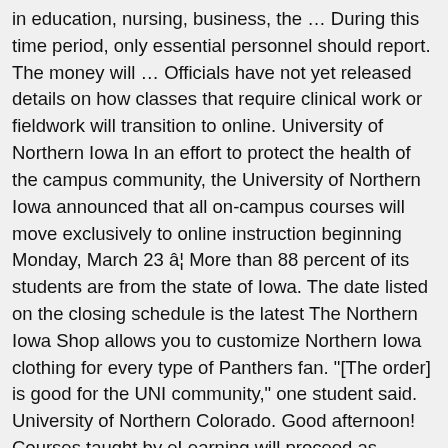in education, nursing, business, the … During this time period, only essential personnel should report. The money will … Officials have not yet released details on how classes that require clinical work or fieldwork will transition to online. University of Northern Iowa In an effort to protect the health of the campus community, the University of Northern Iowa announced that all on-campus courses will move exclusively to online instruction beginning Monday, March 23 â¦ More than 88 percent of its students are from the state of Iowa. The date listed on the closing schedule is the latest The Northern Iowa Shop allows you to customize Northern Iowa clothing for every type of Panthers fan. "[The order] is good for the UNI community," one student said. University of Northern Colorado. Good afternoon! Courses taught by eLearning will proceed as scheduled. The University of Northern Iowa was an ideal location for the lab due to great excitement surrounding the project and several faculty members being active Sertoma club members. UNI's e-Business Suite Closing Schedule . Northern University High School was a small high school in Cedar Falls, Iowa, United States, run by the University